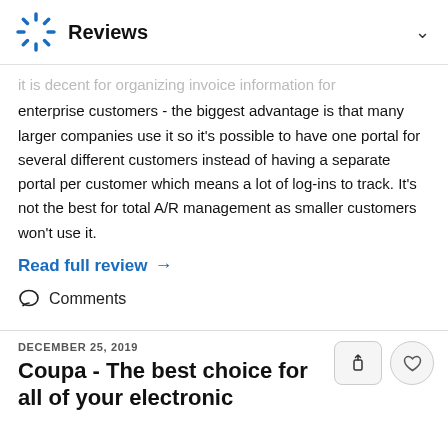Reviews
enterprise customers - the biggest advantage is that many larger companies use it so it's possible to have one portal for several different customers instead of having a separate portal per customer which means a lot of log-ins to track. It's not the best for total A/R management as smaller customers won't use it.
Read full review →
Comments
DECEMBER 25, 2019
Coupa - The best choice for all of your electronic